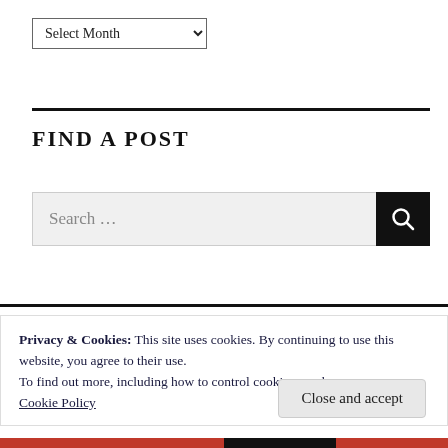[Figure (screenshot): Dropdown widget labeled 'Select Month' with a down arrow]
FIND A POST
[Figure (screenshot): Search bar with placeholder text 'Search ...' and a black search button with magnifying glass icon]
Privacy & Cookies: This site uses cookies. By continuing to use this website, you agree to their use.
To find out more, including how to control cookies, see here: Cookie Policy
Close and accept